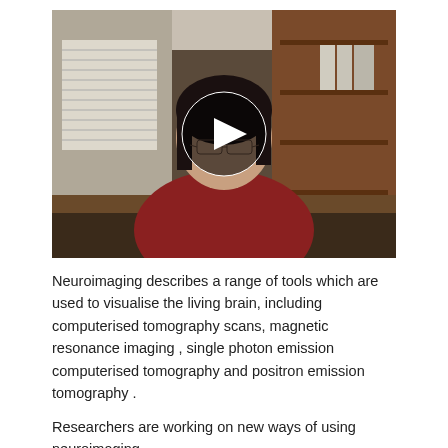[Figure (screenshot): Video thumbnail showing a woman with glasses wearing a red shirt, seated indoors in front of a bookshelf and window with blinds. A circular play button overlay is centered on the image.]
Neuroimaging describes a range of tools which are used to visualise the living brain, including computerised tomography scans, magnetic resonance imaging , single photon emission computerised tomography and positron emission tomography .
Researchers are working on new ways of using neuroimaging